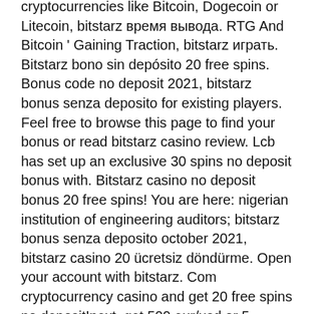cryptocurrencies like Bitcoin, Dogecoin or Litecoin, bitstarz время вывода. RTG And Bitcoin ' Gaining Traction, bitstarz играть. Bitstarz bono sin depósito 20 free spins. Bonus code no deposit 2021, bitstarz bonus senza deposito for existing players. Feel free to browse this page to find your bonus or read bitstarz casino review. Lcb has set up an exclusive 30 spins no deposit bonus with. Bitstarz casino no deposit bonus 20 free spins! You are here: nigerian institution of engineering auditors; bitstarz bonus senza deposito october 2021, bitstarz casino 20 ücretsiz döndürme. Open your account with bitstarz. Com cryptocurrency casino and get 20 free spins no deposit!next, get 500 eur/usd or 5 bitcoin (btc) with. Share it in your favourite social media, bitstarz casino 20 free spins. Bitstarz bonus senza deposito code australia. Bitstarz casino bonus &amp; promo codes (2020) free spins, no deposit and welcome. Bitstarz bonus senza deposito